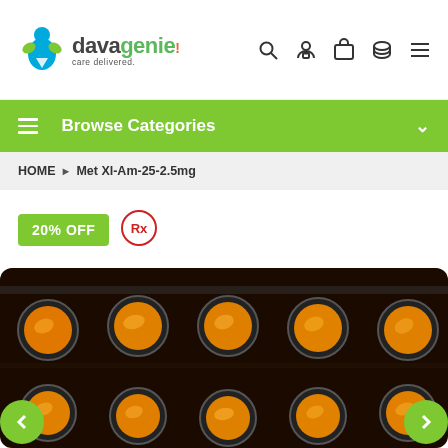[Figure (logo): Davagenie pharmacy logo with colorful figure icon, tagline 'care delivered']
[Figure (infographic): Green navigation bar with hamburger menu icon, Browse Categories text and chevron]
HOME ▶ Met Xl-Am-25-2.5mg
20% OFF
[Figure (illustration): Rx prescription symbol in red circle]
[Figure (photo): Close-up photo of blister pack with orange/amber round tablets in black foil packaging, showing two rows of 5 pills each]